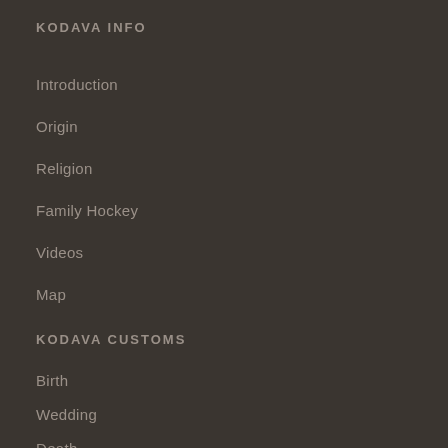KODAVA INFO
Introduction
Origin
Religion
Family Hockey
Videos
Map
KODAVA CUSTOMS
Birth
Wedding
Death